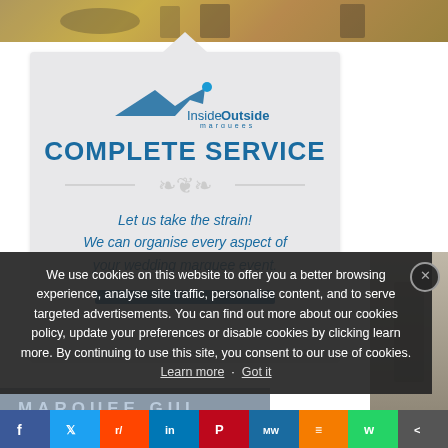[Figure (photo): Top strip showing outdoor scene, possibly a field or garden with rustic elements.]
[Figure (illustration): Advertisement for InsideOutside Marquees - Complete Service. Logo with arrow/marquee graphic. Text: Let us take the strain! We can organise every aspect of your wedding marquee event.]
We use cookies on this website to offer you a better browsing experience, analyse site traffic, personalise content, and to serve targeted advertisements. You can find out more about our cookies policy, update your preferences or disable cookies by clicking learn more. By continuing to use this site, you consent to our use of cookies. Learn more · Got it
MARQUEE GUIDE
[Figure (photo): Right side photo showing outdoor marquee or field scene.]
Facebook · Twitter · Reddit · LinkedIn · Pinterest · MW · Mix · WhatsApp · Share